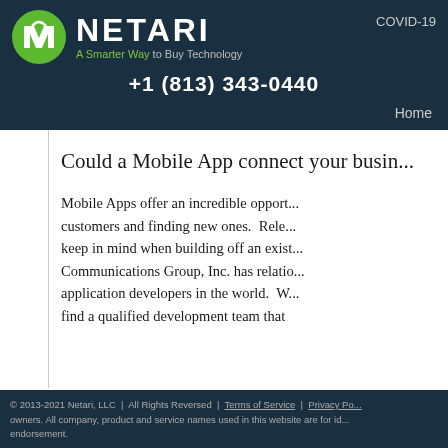[Figure (logo): Netari logo with green circle N icon, company name NETARI, tagline 'A Smarter Way to Buy Technology', and phone number +1 (813) 343-0440]
COVID-19
Home
Could a Mobile App connect your business to more customers?
Mobile Apps offer an incredible opportunity for retaining current customers and finding new ones.  Relevant factors to keep in mind when building off an existing application. Communications Group, Inc. has relationships with the top application developers in the world.  We can help you find a qualified development team that
© 2013-2021 Netari, LLC  |  All Rights Reversed  |  Terms of Service  |  Privacy Po... owners. All company, product and service names used in this website are for id... endorsement.